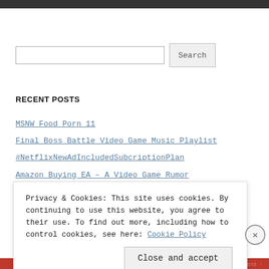[Figure (screenshot): Dark header bar at top of webpage]
Search [input field] [Search button]
RECENT POSTS
MSNW Food Porn 11
Final Boss Battle Video Game Music Playlist
#NetflixNewAdIncludedSubcriptionPlan
Amazon Buying EA – A Video Game Rumor
Privacy & Cookies: This site uses cookies. By continuing to use this website, you agree to their use. To find out more, including how to control cookies, see here: Cookie Policy
Close and accept